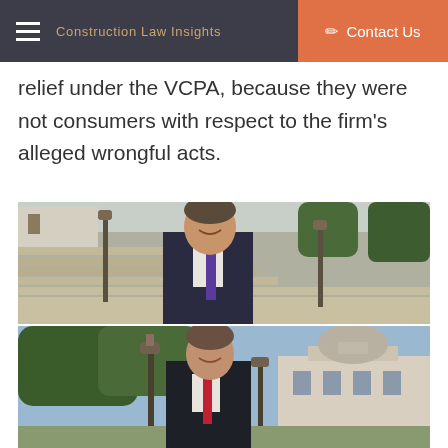Construction Law Insights | Contact Us
relief under the VCPA, because they were not consumers with respect to the firm's alleged wrongful acts.
[Figure (photo): Professional headshot of a man in a dark suit with a purple tie, standing in front of outdoor stone steps and a historic building.]
[Figure (photo): Professional headshot of a younger man in a dark suit with a red tie, standing in front of outdoor lamp posts and a historic building with a dome.]